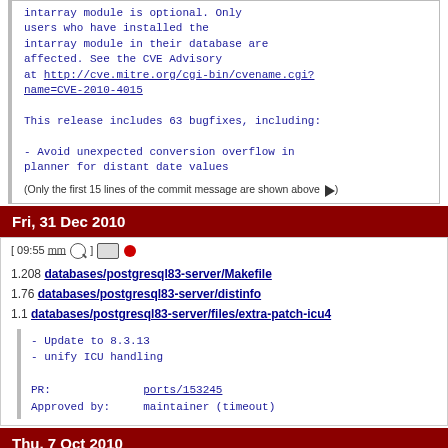intarray module is optional. Only users who have installed the intarray module in their database are affected. See the CVE Advisory at http://cve.mitre.org/cgi-bin/cvename.cgi?name=CVE-2010-4015

This release includes 63 bugfixes, including:

- Avoid unexpected conversion overflow in planner for distant date values
(Only the first 15 lines of the commit message are shown above ▶)
Fri, 31 Dec 2010
[ 09:55 mm 🔍 ] [monitor] [dot]
1.208 databases/postgresql83-server/Makefile
1.76 databases/postgresql83-server/distinfo
1.1 databases/postgresql83-server/files/extra-patch-icu4
- Update to 8.3.13
- unify ICU handling

PR:              ports/153245
Approved by:     maintainer (timeout)
Thu, 7 Oct 2010